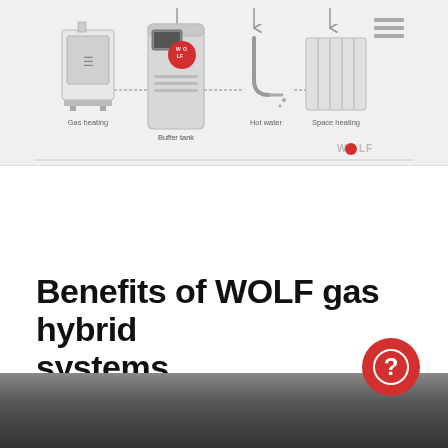[Figure (schematic): Diagram showing components of a WOLF gas hybrid heating system: Gas heating unit (boiler), Buffer tank (with red WOLF ball valve), Hot water tap/pipe, Space heating (radiator), connected by arrows. WOLF logo with red dot in bottom-right of diagram.]
Benefits of WOLF gas hybrid systems
[Figure (photo): Partial photo of WOLF gas hybrid equipment, dark/blurred background visible at bottom of page.]